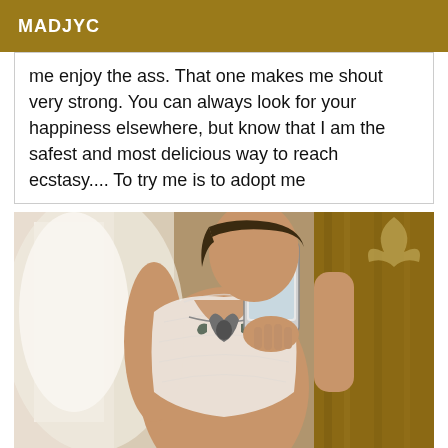MADJYC
me enjoy the ass. That one makes me shout very strong. You can always look for your happiness elsewhere, but know that I am the safest and most delicious way to reach ecstasy.... To try me is to adopt me
[Figure (photo): Mirror selfie photo of a woman in white lace lingerie with a decorative necklace, holding a smartphone to take the picture]